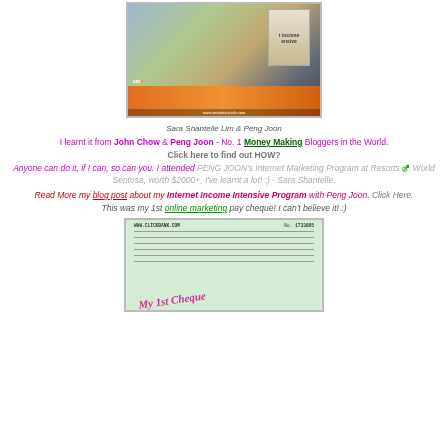[Figure (photo): Photo of Sara Shantelle Lim and Peng Joon standing together at a social media marketing event backdrop]
Sara Shantelle Lim & Peng Joon
I learnt it from John Chow & Peng Joon - No. 1 Money Making Bloggers in the World.
Click here to find out HOW?
Anyone can do it, if I can, so can you. I attended PENG JOON's Internet Marketing Program at Resorts World Sentosa, worth $2000+, I've learnt a lot! :) - Sara Shantelle.
Read More my blog post about my Internet Income Intensive Program with Peng Joon. Click Here.
This was my 1st online marketing pay cheque! I can't believe it! :)
[Figure (photo): Photo of a ClickBank cheque labeled 'My 1st Cheque']